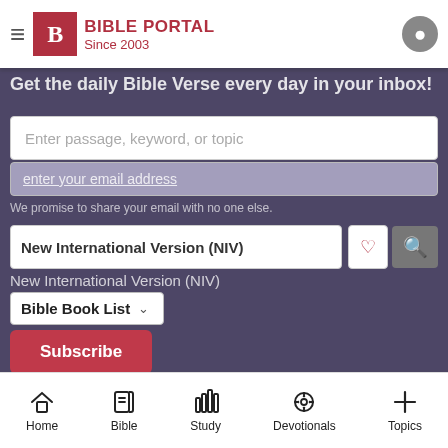BIBLE PORTAL Since 2003
Get the daily Bible Verse every day in your inbox!
Enter passage, keyword, or topic
enter your email address
New International Version (NIV)
New International Version (NIV)
Bible Book List
Subscribe
Home > What The Bible Says > Sodomy
Sign in with Facebook
360 Bible Verses about
Sign in with Google
Home  Bible  Study  Devotionals  Topics